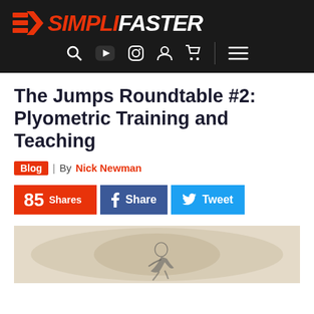[Figure (logo): SimpliFaster logo with orange SF icon and italic SIMPLIFASTER text in white/orange on black background, with navigation icons below (search, play, instagram, user, cart, menu)]
The Jumps Roundtable #2: Plyometric Training and Teaching
Blog | By Nick Newman
[Figure (infographic): Social share buttons: orange box showing 85 Shares, blue Facebook Share button, light blue Twitter Tweet button]
[Figure (photo): Black and white sketch/illustration of a crouching human figure at the bottom of the page]